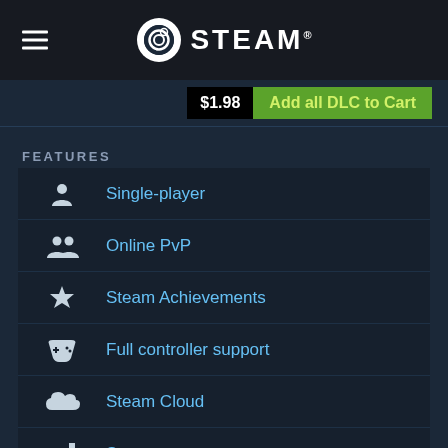STEAM
$1.98  Add all DLC to Cart
FEATURES
Single-player
Online PvP
Steam Achievements
Full controller support
Steam Cloud
Stats
Remote Play on TV
LINKS & INFO
View Steam Achievements (36)